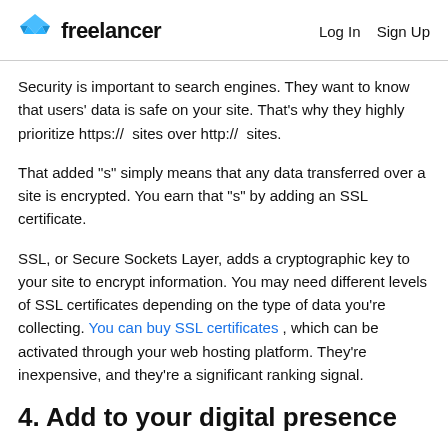freelancer   Log In   Sign Up
Security is important to search engines. They want to know that users' data is safe on your site. That's why they highly prioritize https:// sites over http:// sites.
That added "s" simply means that any data transferred over a site is encrypted. You earn that "s" by adding an SSL certificate.
SSL, or Secure Sockets Layer, adds a cryptographic key to your site to encrypt information. You may need different levels of SSL certificates depending on the type of data you're collecting. You can buy SSL certificates , which can be activated through your web hosting platform. They're inexpensive, and they're a significant ranking signal.
4. Add to your digital presence